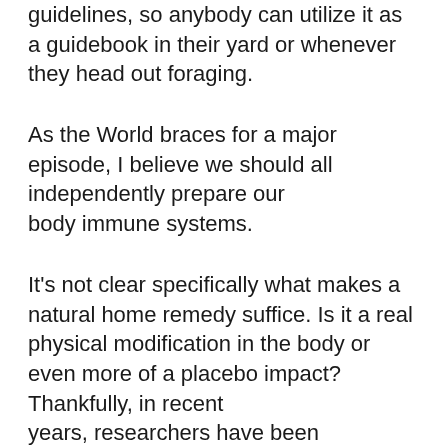guidelines, so anybody can utilize it as a guidebook in their yard or whenever they head out foraging.
As the World braces for a major episode, I believe we should all independently prepare our body immune systems.
It's not clear specifically what makes a natural home remedy suffice. Is it a real physical modification in the body or even more of a placebo impact? Thankfully, in recent years, researchers have been asking the exact same inquiries in a laboratory, as well as are discovering that several of our